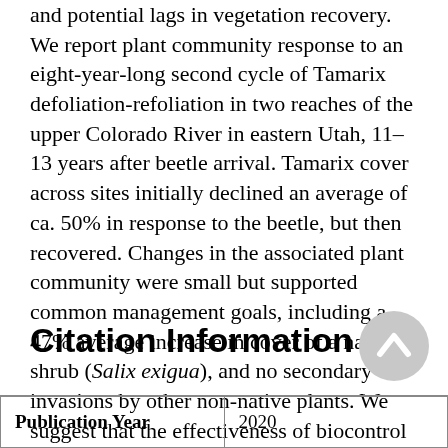and potential lags in vegetation recovery. We report plant community response to an eight-year-long second cycle of Tamarix defoliation-refoliation in two reaches of the upper Colorado River in eastern Utah, 11–13 years after beetle arrival. Tamarix cover across sites initially declined an average of ca. 50% in response to the beetle, but then recovered. Changes in the associated plant community were small but supported common management goals, including a 47% average increase in cover of a native shrub (Salix exigua), and no secondary invasions by other non-native plants. We suggest that the effectiveness of biocontrol programs must be assessed case-by-case, and on a long-term basis.
Citation Information
| Publication Year | 2020 |
| --- | --- |